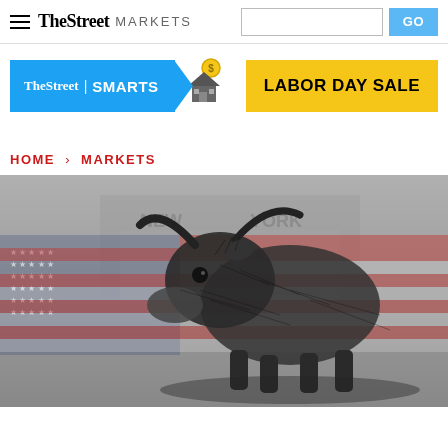TheStreet MARKETS
[Figure (logo): TheStreet | SMARTS promotional badge with house/money icon]
[Figure (other): LABOR DAY SALE yellow button/banner]
HOME > MARKETS
[Figure (photo): Sketch-style illustration of a bull in front of an American flag with New York Stock Exchange building in background, black and white with muted red/white flag colors]